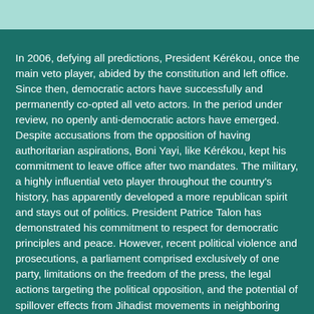In 2006, defying all predictions, President Kérékou, once the main veto player, abided by the constitution and left office. Since then, democratic actors have successfully and permanently co-opted all veto actors. In the period under review, no openly anti-democratic actors have emerged. Despite accusations from the opposition of having authoritarian aspirations, Boni Yayi, like Kérékou, kept his commitment to leave office after two mandates. The military, a highly influential veto player throughout the country's history, has apparently developed a more republican spirit and stays out of politics. President Patrice Talon has demonstrated his commitment to respect for democratic principles and peace. However, recent political violence and prosecutions, a parliament comprised exclusively of one party, limitations on the freedom of the press, the legal actions targeting the political opposition, and the potential of spillover effects from Jihadist movements in neighboring countries all underline the potentially fragile democratic consensus.